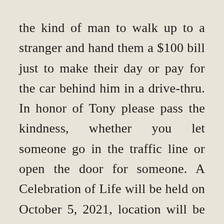the kind of man to walk up to a stranger and hand them a $100 bill just to make their day or pay for the car behind him in a drive-thru. In honor of Tony please pass the kindness, whether you let someone go in the traffic line or open the door for someone. A Celebration of Life will be held on October 5, 2021, location will be announced on the Larkins Marquee.